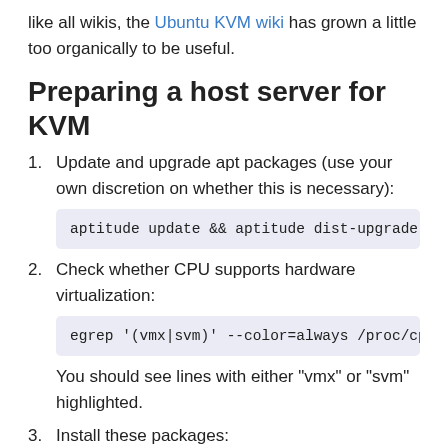like all wikis, the Ubuntu KVM wiki has grown a little too organically to be useful.
Preparing a host server for KVM
1. Update and upgrade apt packages (use your own discretion on whether this is necessary):
aptitude update && aptitude dist-upgrade
2. Check whether CPU supports hardware virtualization:
egrep '(vmx|svm)' --color=always /proc/cpu
You should see lines with either "vmx" or "svm" highlighted.
3. Install these packages:
aptitude install kvm libvirt-bin ubuntu-vm